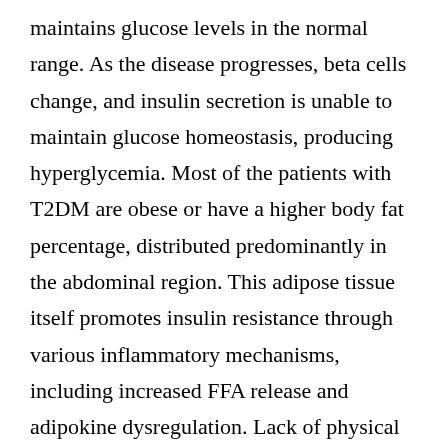maintains glucose levels in the normal range. As the disease progresses, beta cells change, and insulin secretion is unable to maintain glucose homeostasis, producing hyperglycemia. Most of the patients with T2DM are obese or have a higher body fat percentage, distributed predominantly in the abdominal region. This adipose tissue itself promotes insulin resistance through various inflammatory mechanisms, including increased FFA release and adipokine dysregulation. Lack of physical activity, prior GDM in those with hypertension or dyslipidemia also increases the risk of developing T2DM. Evolving data suggest a role for adipokine dysregulation, inflammation, abnormal incretin biology with decreased incretins